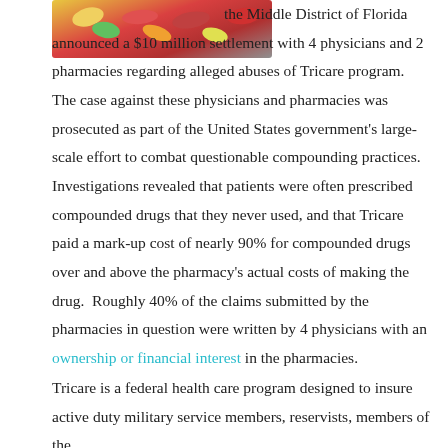[Figure (photo): Colorful pills and capsules, partially cropped at top of page]
the Middle District of Florida announced a $10 million settlement with 4 physicians and 2 pharmacies regarding alleged abuses of Tricare program.  The case against these physicians and pharmacies was prosecuted as part of the United States government's large-scale effort to combat questionable compounding practices.  Investigations revealed that patients were often prescribed compounded drugs that they never used, and that Tricare paid a mark-up cost of nearly 90% for compounded drugs over and above the pharmacy's actual costs of making the drug.  Roughly 40% of the claims submitted by the pharmacies in question were written by 4 physicians with an ownership or financial interest in the pharmacies.
Tricare is a federal health care program designed to insure active duty military service members, reservists, members of the